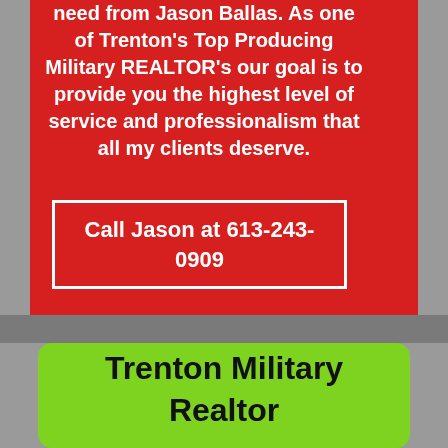need from Jason Ballas. As one of Trenton's Top Producing Military REALTOR's our goal is to provide you the highest level of service and professionalism that all my clients deserve.
Call Jason at 613-243-0909
Trenton Military Realtor